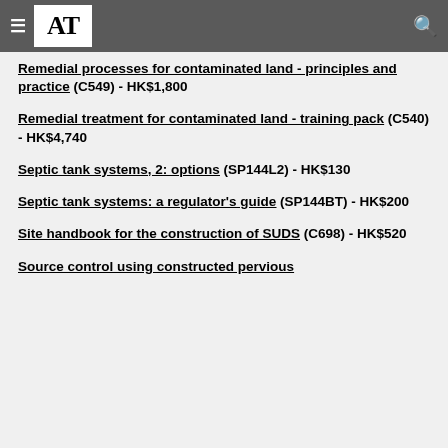AT
Remedial processes for contaminated land - principles and practice (C549) - HK$1,800
Remedial treatment for contaminated land - training pack (C540) - HK$4,740
Septic tank systems, 2: options (SP144L2) - HK$130
Septic tank systems: a regulator's guide (SP144BT) - HK$200
Site handbook for the construction of SUDS (C698) - HK$520
Source control using constructed pervious surfaces (partially visible)